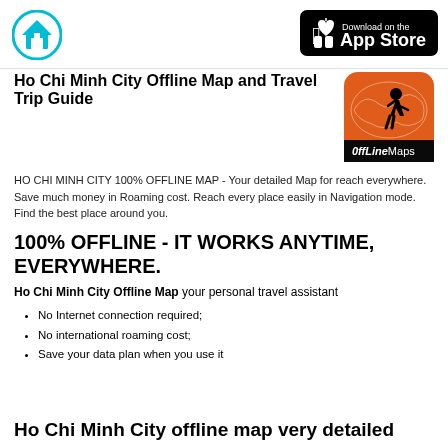[Figure (logo): Home icon — house silhouette in cyan/teal circle]
[Figure (logo): Download on the App Store badge, black rounded rectangle with Apple logo]
Ho Chi Minh City Offline Map and Travel Trip Guide
HO CHI MINH CITY 100% OFFLINE MAP - Your detailed Map for reach everywhere. Save much money in Roaming cost. Reach every place easily in Navigation mode. Find the best place around you.
[Figure (logo): OffLine Maps app icon — orange rounded square with world map and walking person silhouette, text 'OffLine Maps' at bottom]
100% OFFLINE - IT WORKS ANYTIME, EVERYWHERE.
Ho Chi Minh City Offline Map your personal travel assistant
No Internet connection required;
No international roaming cost;
Save your data plan when you use it
Ho Chi Minh City offline map very detailed